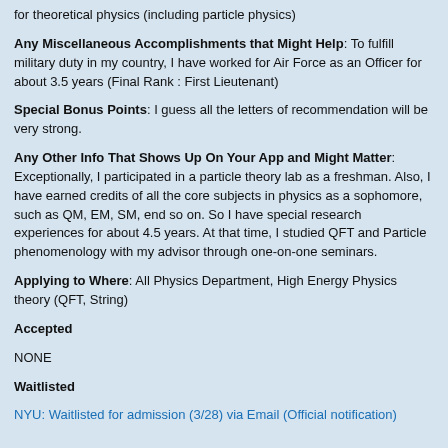for theoretical physics (including particle physics)
Any Miscellaneous Accomplishments that Might Help: To fulfill military duty in my country, I have worked for Air Force as an Officer for about 3.5 years (Final Rank : First Lieutenant)
Special Bonus Points: I guess all the letters of recommendation will be very strong.
Any Other Info That Shows Up On Your App and Might Matter: Exceptionally, I participated in a particle theory lab as a freshman. Also, I have earned credits of all the core subjects in physics as a sophomore, such as QM, EM, SM, end so on. So I have special research experiences for about 4.5 years. At that time, I studied QFT and Particle phenomenology with my advisor through one-on-one seminars.
Applying to Where: All Physics Department, High Energy Physics theory (QFT, String)
Accepted
NONE
Waitlisted
NYU: Waitlisted for admission (3/28) via Email (Official notification)